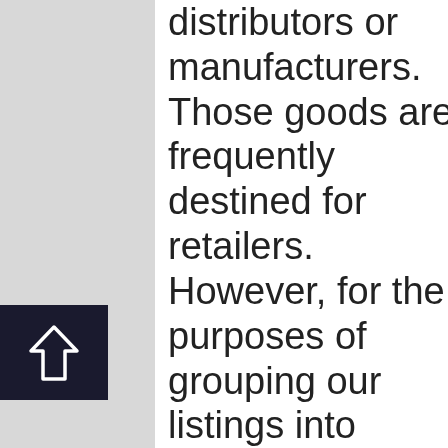distributors or manufacturers. Those goods are frequently destined for retailers. However, for the purposes of grouping our listings into categories here at Find-Us-Here.com, we have included Retail Shopping & Wholesale together. There are many key areas of interest in the Retail Shopping &
[Figure (other): Dark navy square button with an upward arrow (outline style) icon]